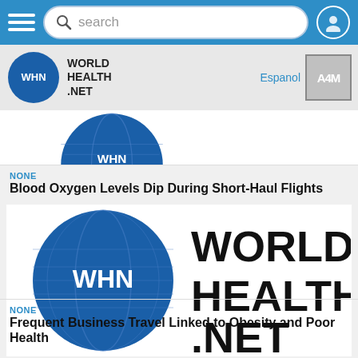[Figure (screenshot): Navigation bar with hamburger menu, search box, and user profile icon on blue background]
[Figure (logo): World Health Net (WHN) logo with globe icon and site name, plus Espanol link and A4M badge]
[Figure (photo): Partial blue globe/logo image cropped at top]
NONE
Blood Oxygen Levels Dip During Short-Haul Flights
[Figure (logo): World Health Net full logo with WHN globe and WORLD HEALTH .NET text]
NONE
Frequent Business Travel Linked to Obesity and Poor Health